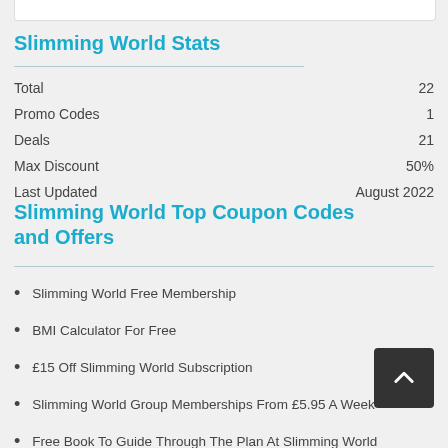Slimming World Stats
|  |  |
| --- | --- |
| Total | 22 |
| Promo Codes | 1 |
| Deals | 21 |
| Max Discount | 50% |
| Last Updated | August 2022 |
Slimming World Top Coupon Codes and Offers
Slimming World Free Membership
BMI Calculator For Free
£15 Off Slimming World Subscription
Slimming World Group Memberships From £5.95 A Week
Free Book To Guide Through The Plan At Slimming World